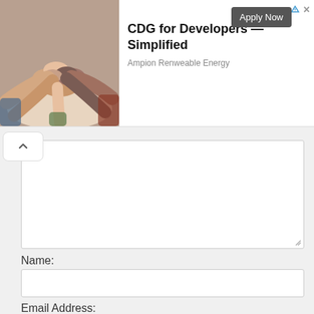[Figure (photo): Hands piled together in a group huddle, diverse people, top-down view]
CDG for Developers —Simplified
Apply Now
Ampion Renweable Energy
Name:
Email Address: